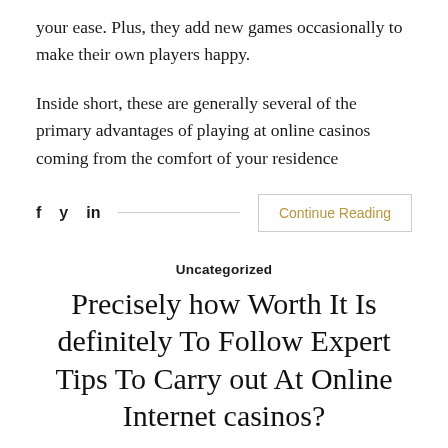your ease. Plus, they add new games occasionally to make their own players happy.
Inside short, these are generally several of the primary advantages of playing at online casinos coming from the comfort of your residence
f  y  in  ——————————————————  Continue Reading
Uncategorized
Precisely how Worth It Is definitely To Follow Expert Tips To Carry out At Online Internet casinos?
August 16, 2022   No Comments